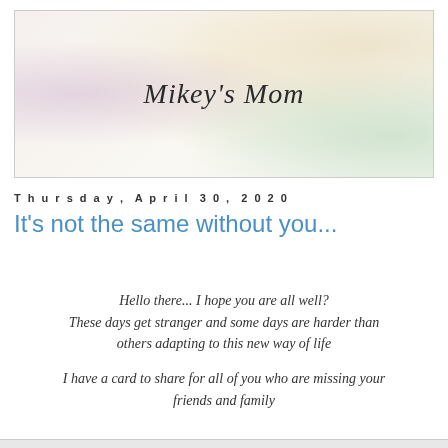[Figure (illustration): Blog header banner with soft pastel floral/petal background in pink, cream, yellow, and green tones, with the cursive italic text 'Mikey's Mom' centered on it]
Thursday, April 30, 2020
It's not the same without you...
Hello there... I hope you are all well?
These days get stranger and some days are harder than others adapting to this new way of life
I have a card to share for all of you who are missing your friends and family